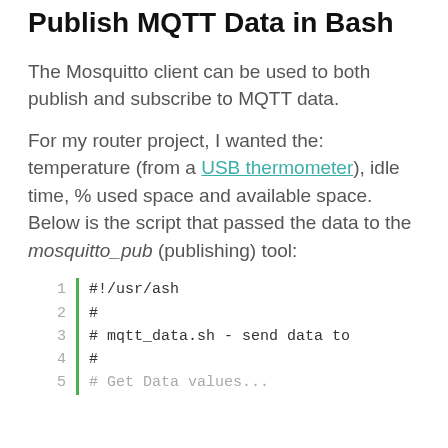Publish MQTT Data in Bash
The Mosquitto client can be used to both publish and subscribe to MQTT data.
For my router project, I wanted the: temperature (from a USB thermometer), idle time, % used space and available space. Below is the script that passed the data to the mosquitto_pub (publishing) tool:
[Figure (screenshot): Code block showing a bash script with line numbers 1-5 and a green vertical bar. Lines shown: 1: #!/usr/ash, 2: #, 3: # mqtt_data.sh - send data to, 4: #, 5: # Get Data values (partially visible)]